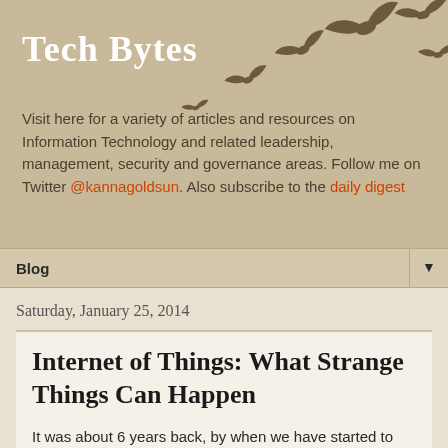Tech Bytes
Visit here for a variety of articles and resources on Information Technology and related leadership, management, security and governance areas. Follow me on Twitter @kannagoldsun. Also subscribe to the daily digest
Blog
Saturday, January 25, 2014
Internet of Things: What Strange Things Can Happen
It was about 6 years back, by when we have started to see WiFi enabled digital cameras and we were wondering what this has to do in a digital camera. But with that, the digital